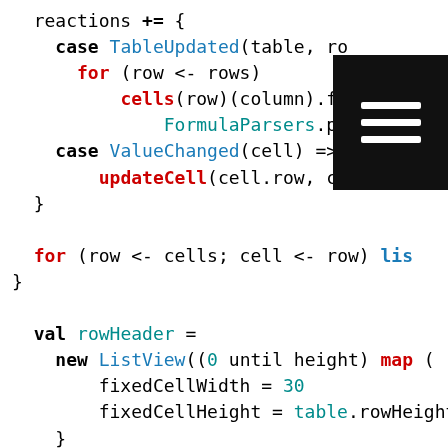Code snippet showing Scala/reactive code with reactions, case TableUpdated, for loop, cells formula, FormulaParsers.parse, case ValueChanged, updateCell, for loop over cells, val rowHeader, new ListView, fixedCellWidth, fixedCellHeight, viewportView, rowHeaderView
[Figure (other): Black hamburger menu icon overlay in top-right corner]